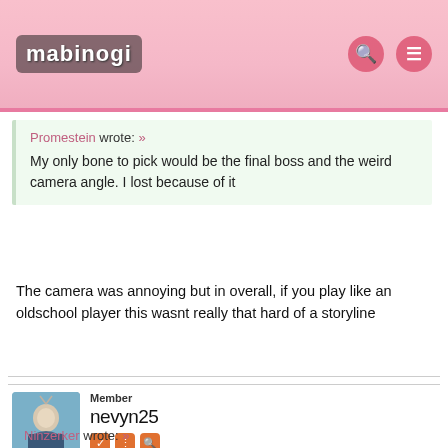mabinogi
Promestein wrote: »
My only bone to pick would be the final boss and the weird camera angle. I lost because of it
The camera was annoying but in overall, if you play like an oldschool player this wasnt really that hard of a storyline
Member
nevyn25
Mabinogi Rep: 4,135
Posts: 667
JULY 12, 2018   EDITED JULY 12, 2018
Ninzerker wrote: »